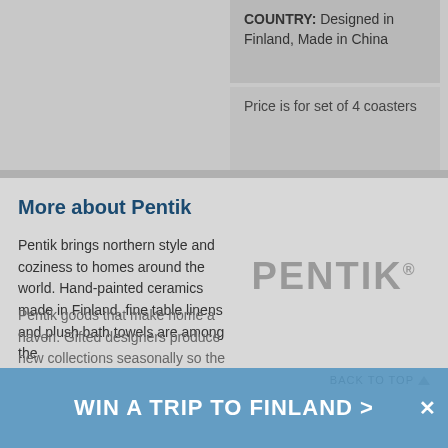COUNTRY: Designed in Finland, Made in China
Price is for set of 4 coasters
More about Pentik
Pentik brings northern style and coziness to homes around the world. Hand-painted ceramics made in Finland, fine table linens and plush bath towels are among the Pentik goods that make home a haven. Gifted designers produce new collections seasonally so the
[Figure (logo): PENTIK logo in large grey sans-serif letters with registered trademark symbol]
BACK TO TOP
WIN A TRIP TO FINLAND >